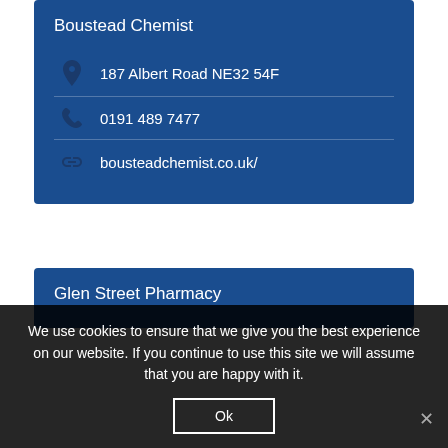Boustead Chemist
187 Albert Road NE32 54F
0191 489 7477
bousteadchemist.co.uk/
Glen Street Pharmacy
We use cookies to ensure that we give you the best experience on our website. If you continue to use this site we will assume that you are happy with it.
Ok